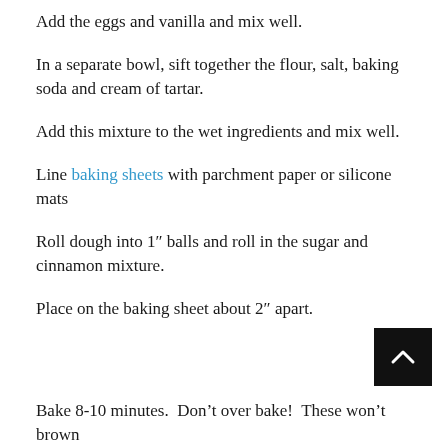Add the eggs and vanilla and mix well.
In a separate bowl, sift together the flour, salt, baking soda and cream of tartar.
Add this mixture to the wet ingredients and mix well.
Line baking sheets with parchment paper or silicone mats
Roll dough into 1" balls and roll in the sugar and cinnamon mixture.
Place on the baking sheet about 2" apart.
Bake 8-10 minutes.  Don't over bake!  These won't brown